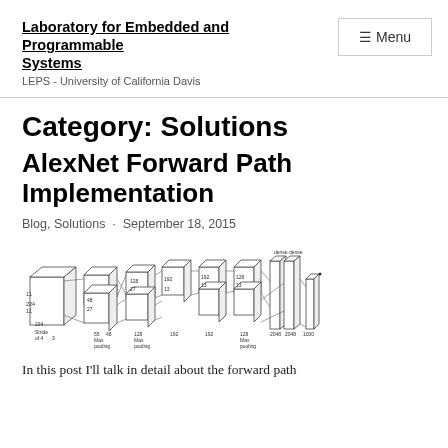Laboratory for Embedded and Programmable Systems
LEPS - University of California Davis
Category: Solutions
AlexNet Forward Path Implementation
Blog, Solutions · September 18, 2015
[Figure (engineering-diagram): Architecture diagram of AlexNet neural network showing layers including convolutional layers with labeled dimensions (224, 48, 128, 192, 128, 2048, etc.), max pooling layers, and dense layers connected by lines indicating data flow.]
In this post I'll talk in detail about the forward path